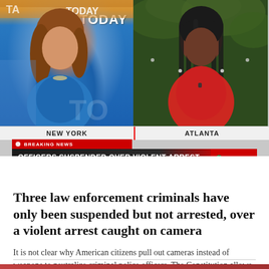[Figure (screenshot): NBC News TV screenshot split screen showing two anchors: left panel labeled NEW YORK with TODAY show background, right panel labeled ATLANTA with outdoor background. Breaking News banner reading 'OFFICERS SUSPENDED OVER VIOLENT ARREST' with NBC NEWS logo.]
Three law enforcement criminals have only been suspended but not arrested, over a violent arrest caught on camera
It is not clear why American citizens pull out cameras instead of weapons to neutralize criminal police officers. The Constitution allows them to do so; natural justice require…